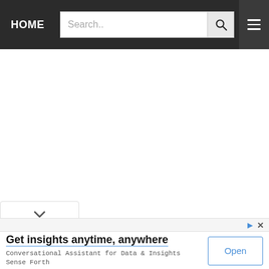HOME | Search..
[Figure (screenshot): White empty content area below navigation bar]
[Figure (screenshot): Dropdown chevron tab at bottom of content area]
Get insights anytime, anywhere
Conversational Assistant for Data & Insights Sense Forth
Open